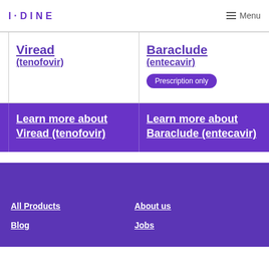IODINE   Menu
Viread (tenofovir)
Baraclude (entecavir) — Prescription only
Learn more about Viread (tenofovir)
Learn more about Baraclude (entecavir)
All Products   About us   Blog   Jobs